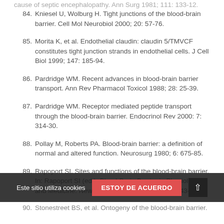84. Kniesel U, Wolburg H. Tight junctions of the blood-brain barrier. Cell Mol Neurobiol 2000; 20: 57-76.
85. Morita K, et al. Endothelial claudin: claudin 5/TMVCF constitutes tight junction strands in endothelial cells. J Cell Biol 1999; 147: 185-94.
86. Pardridge WM. Recent advances in blood-brain barrier transport. Ann Rev Pharmacol Toxicol 1988; 28: 25-39.
87. Pardridge WM. Receptor mediated peptide transport through the blood-brain barrier. Endocrinol Rev 2000: 7: 314-30.
88. Pollay M, Roberts PA. Blood-brain barrier: a definition of normal and altered function. Neurosurg 1980; 6: 675-85.
89. Rapoport SI. Sites and functions of the blood-brain barrier. In: Rapoport SI (ed.). Blood-Brain Barrier in Physiology and Medicine. New York: Raven Press; 1976, p. 43-86.
90. Stonestreet BS, et al. Ontogeny of the blood-brain barrier.